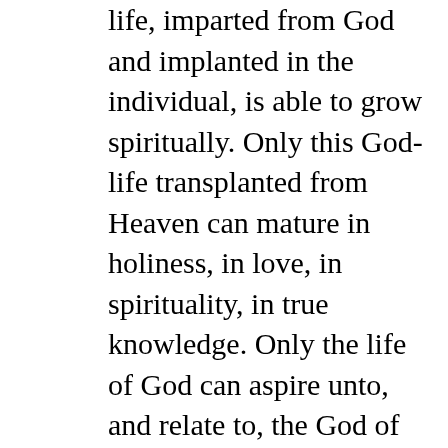life, imparted from God and implanted in the individual, is able to grow spiritually. Only this God-life transplanted from Heaven can mature in holiness, in love, in spirituality, in true knowledge. Only the life of God can aspire unto, and relate to, the God of life. This is why unbelievers cannot understand the things of God, or develop in spiritual matters. Where the God-life should be, the lost have only a huge vacuum. “Being alienated from the life of God,” they have nothing in them to enlighten, to instruct, to grow. When the God-life is not there, there is nothing to work with. Unbelievers have no God-light in the mind because they have no God-life in the heart. “The natural man receiveth not the things of the Spirit of God: for they are foolishness unto him: neither can he know them, because they are spiritually discerned” (1 C 2:14). The lost alienate themselves from the only true purpose of human life–fellowship with God. Imagine a